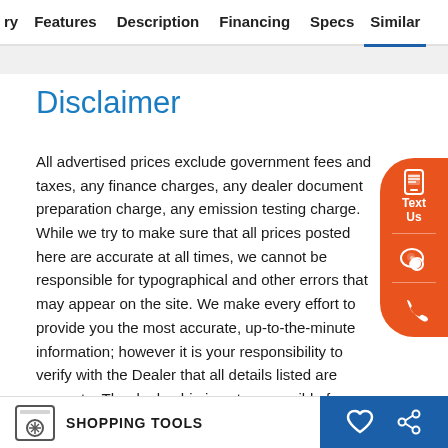ry  Features  Description  Financing  Specs  Similar
Disclaimer
All advertised prices exclude government fees and taxes, any finance charges, any dealer document preparation charge, any emission testing charge. While we try to make sure that all prices posted here are accurate at all times, we cannot be responsible for typographical and other errors that may appear on the site. We make every effort to provide you the most accurate, up-to-the-minute information; however it is your responsibility to verify with the Dealer that all details listed are accurate. The dealership is not responsible for typographical, pricing, product information, advertising or shipping errors. Advertised prices and available quantities are subject to change without notice. All rates and offers are dependent on bank approval, which varies based on applicant's credit as well as the
SHOPPING TOOLS